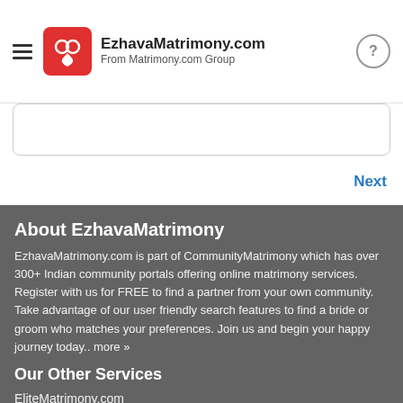EzhavaMatrimony.com — From Matrimony.com Group
About EzhavaMatrimony
EzhavaMatrimony.com is part of CommunityMatrimony which has over 300+ Indian community portals offering online matrimony services. Register with us for FREE to find a partner from your own community. Take advantage of our user friendly search features to find a bride or groom who matches your preferences. Join us and begin your happy journey today.. more »
Our Other Services
EliteMatrimony.com